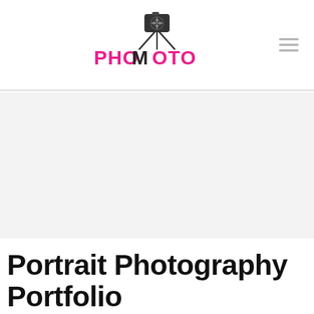PHOMOTO logo with hamburger menu
[Figure (logo): PHOMOTO photography brand logo with camera on tripod icon above text. PHO and TO in pink/magenta, M in black stylized as tripod legs.]
[Figure (illustration): Light gray hero background area placeholder]
Portrait Photography Portfolio